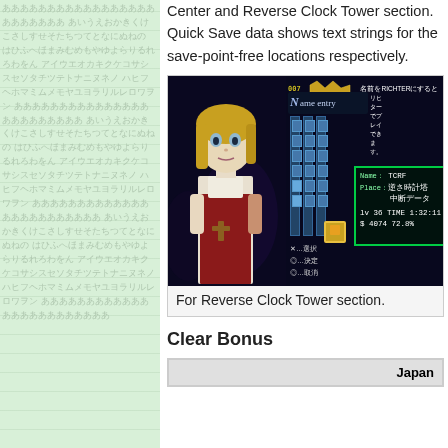Center and Reverse Clock Tower section. Quick Save data shows text strings for the save-point-free locations respectively.
[Figure (screenshot): Game screenshot showing a name entry screen from a Japanese PlayStation game (Castlevania: Symphony of the Night). A blonde female character is on the left. On the right is a save data panel with green borders showing: Name: TCRF, Place: 逆さ時計塔 中断データ, lv 36, TIME 1:32:11, $ 4074, 72.8%. Japanese text at top reads 名前をRICHTERにすると リヒターでプレイできます。 Button hints at bottom in Japanese.]
For Reverse Clock Tower section.
Clear Bonus
| Japan |
| --- |